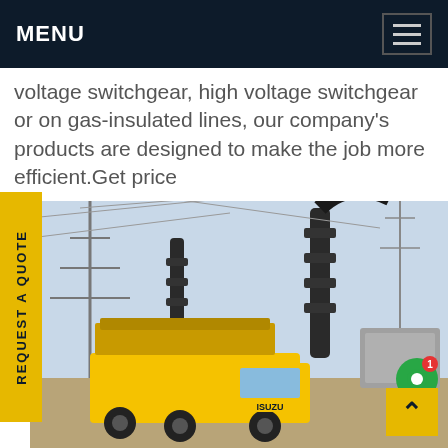MENU
voltage switchgear, high voltage switchgear or on gas-insulated lines, our company's products are designed to make the job more efficient.Get price
[Figure (photo): A yellow Isuzu utility truck parked at a high-voltage electrical substation with large insulators, cables, and transmission line structures in the background.]
REQUEST A QUOTE